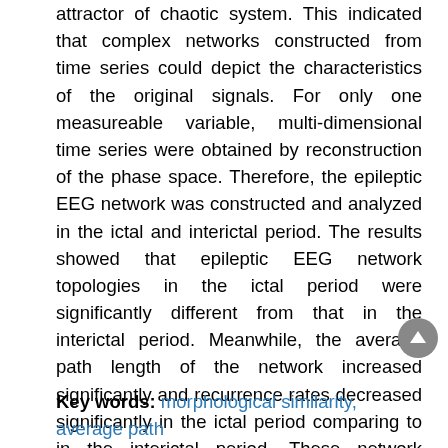attractor of chaotic system. This indicated that complex networks constructed from time series could depict the characteristics of the original signals. For only one measureable variable, multi-dimensional time series were obtained by reconstruction of the phase space. Therefore, the epileptic EEG network was constructed and analyzed in the ictal and interictal period. The results showed that epileptic EEG network topologies in the ictal period were significantly different from that in the interictal period. Meanwhile, the average path length of the network increased significantly and recurrence rates decreased significantly in the ictal period comparing to in the interictal period. These network features could be used to depict the characteristics of EEG time series and could provide the basis for epilepsy automatic identification and prediction.
Key words: morphological similarity, average path